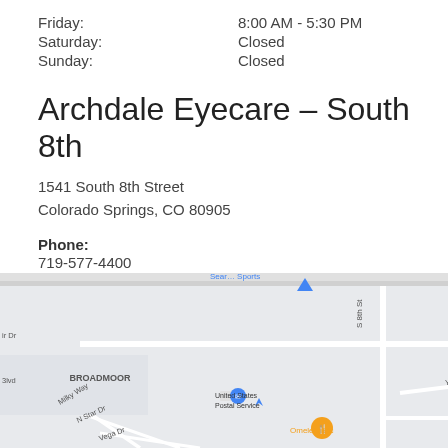Friday: 8:00 AM - 5:30 PM
Saturday: Closed
Sunday: Closed
Archdale Eyecare – South 8th
1541 South 8th Street
Colorado Springs, CO 80905
Phone:
719-577-4400
Fax:
719-577-4954
[Figure (map): Google Maps view showing the area around 1541 South 8th Street, Colorado Springs, CO 80905, featuring streets Foothills Rd, W Brookside St, S 8th St, Lorraine St, Parkway Dr, Milky Way, N Star Dr, Vega Dr, Yucca Dr, Salano Dr, W Ramona Ave, and landmarks including United States Postal Service, Omelets Etc, and the Broadmoor neighborhood label.]